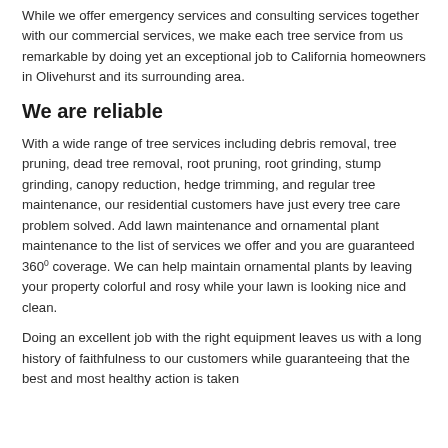While we offer emergency services and consulting services together with our commercial services, we make each tree service from us remarkable by doing yet an exceptional job to California homeowners in Olivehurst and its surrounding area.
We are reliable
With a wide range of tree services including debris removal, tree pruning, dead tree removal, root pruning, root grinding, stump grinding, canopy reduction, hedge trimming, and regular tree maintenance, our residential customers have just every tree care problem solved. Add lawn maintenance and ornamental plant maintenance to the list of services we offer and you are guaranteed 360° coverage. We can help maintain ornamental plants by leaving your property colorful and rosy while your lawn is looking nice and clean.
Doing an excellent job with the right equipment leaves us with a long history of faithfulness to our customers while guaranteeing that the best and most healthy action is taken